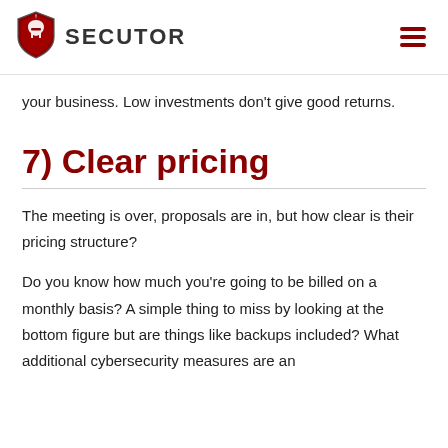SECUTOR
your business.  Low investments don't give good returns.
7) Clear pricing
The meeting is over, proposals are in, but how clear is their pricing structure?
Do you know how much you're going to be billed on a monthly basis?  A simple thing to miss by looking at the bottom figure but are things like backups included? What additional cybersecurity measures are an